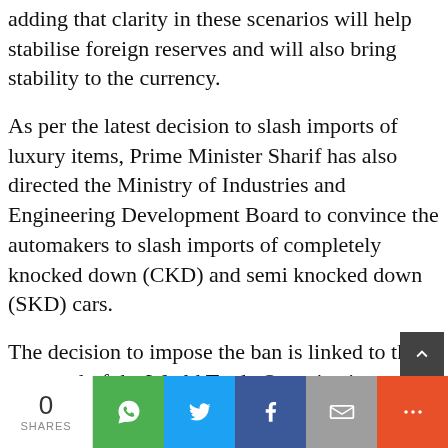adding that clarity in these scenarios will help stabilise foreign reserves and will also bring stability to the currency.
As per the latest decision to slash imports of luxury items, Prime Minister Sharif has also directed the Ministry of Industries and Engineering Development Board to convince the automakers to slash imports of completely knocked down (CKD) and semi knocked down (SKD) cars.
The decision to impose the ban is linked to the approval of the World Trade Organization (WTO) and the International Monetary Fund (IMF). It has been decided that the IMF will be consulted on the ban during the ongoing negotiations in Doha, after which the federal cabinet approval will b
0 SHARES | Social share buttons: WhatsApp, Twitter, Facebook, Email, More